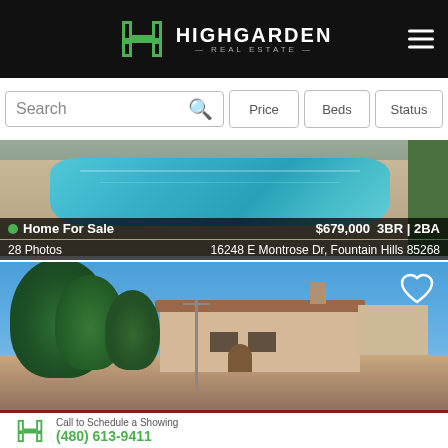[Figure (logo): Highgarden Real Estate logo with green H icon on black header bar]
Search
Price
Beds
Status
[Figure (photo): Aerial view of a swimming pool with turquoise water and surrounding patio]
Home For Sale  $679,000  3BR | 2BA
28 Photos  16248 E Montrose Dr, Fountain Hills 85268
[Figure (photo): Front exterior of a Southwest-style home with large tree, red tile roof, and desert landscaping under blue sky with heart/favorite icon]
[Figure (logo): Highgarden Real Estate H logo green]
Call to Schedule a Showing
(480) 613-9411